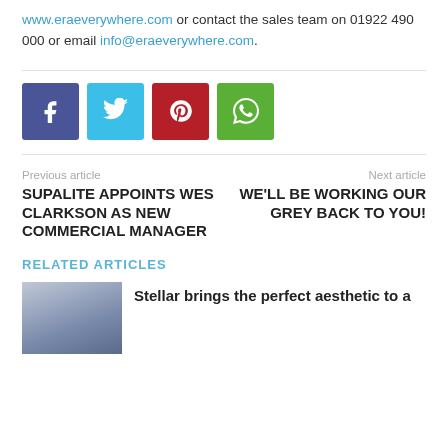www.eraeverywhere.com or contact the sales team on 01922 490 000 or email info@eraeverywhere.com.
[Figure (other): Social share buttons: Facebook (blue-purple), Twitter (blue), Pinterest (red), WhatsApp (green)]
Previous article
SUPALITE APPOINTS WES CLARKSON AS NEW COMMERCIAL MANAGER
Next article
WE'LL BE WORKING OUR GREY BACK TO YOU!
RELATED ARTICLES
Stellar brings the perfect aesthetic to a